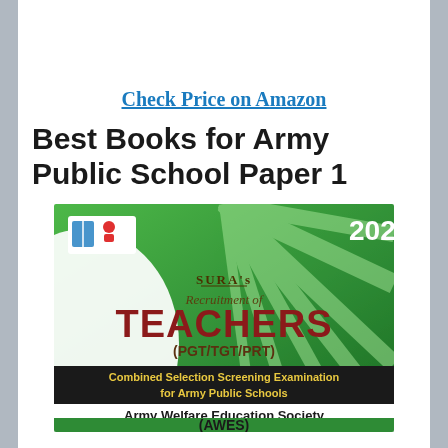Check Price on Amazon
Best Books for Army Public School Paper 1
[Figure (illustration): Book cover of SURA's Recruitment of TEACHERS (PGT/TGT/PRT) 2022 - Combined Selection Screening Examination for Army Public Schools - Army Welfare Education Society (AWES)]